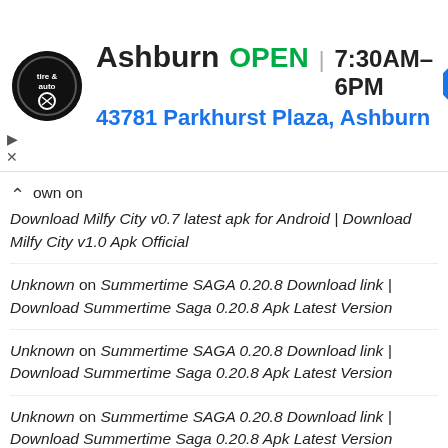[Figure (screenshot): Advertisement banner for Ashburn tire & auto shop showing logo, OPEN status, hours 7:30AM-6PM, address 43781 Parkhurst Plaza, Ashburn, and navigation arrow icon]
own on Download Milfy City v0.7 latest apk for Android | Download Milfy City v1.0 Apk Official
Unknown on Summertime SAGA 0.20.8 Download link | Download Summertime Saga 0.20.8 Apk Latest Version
Unknown on Summertime SAGA 0.20.8 Download link | Download Summertime Saga 0.20.8 Apk Latest Version
Unknown on Summertime SAGA 0.20.8 Download link | Download Summertime Saga 0.20.8 Apk Latest Version
Unknown on Summertime SAGA 0.20.8 Download link | Download Summertime Saga 0.20.8 Apk Latest Version
Unknown on Summertime SAGA 0.20.8 Download link | Download Summertime Saga 0.20.8 Apk Latest Version
Unknown on Summertime SAGA 0.20.8 Download link | Download Summertime Saga 0.20.8 Apk Latest Version